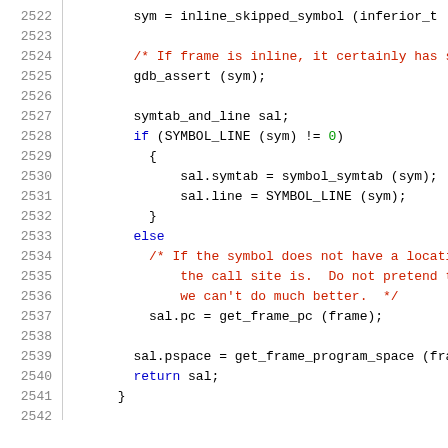Source code listing lines 2522-2542
2522    sym = inline_skipped_symbol (inferior_t
2523
2524    /* If frame is inline, it certainly has s
2525    gdb_assert (sym);
2526
2527    symtab_and_line sal;
2528    if (SYMBOL_LINE (sym) != 0)
2529      {
2530        sal.symtab = symbol_symtab (sym);
2531        sal.line = SYMBOL_LINE (sym);
2532      }
2533    else
2534      /* If the symbol does not have a locati
2535          the call site is.  Do not pretend to
2536          we can't do much better.  */
2537      sal.pc = get_frame_pc (frame);
2538
2539    sal.pspace = get_frame_program_space (fra
2540    return sal;
2541  }
2542